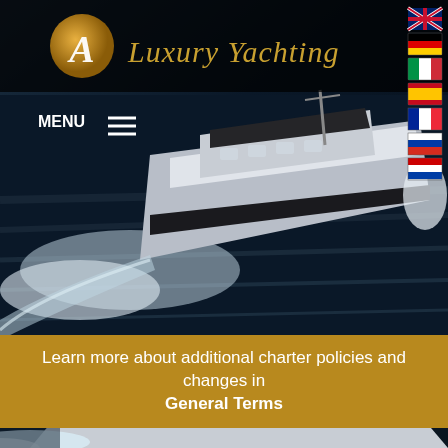[Figure (screenshot): A Luxury Yachting website header screenshot showing a luxury yacht on dark ocean water, logo with golden circle and letter A, brand name in golden italic script, flag icons for multiple countries on the right, MENU hamburger icon, a golden banner with text, and a close-up bottom photo of a yacht cutting through water with white wake.]
Learn more about additional charter policies and changes in General Terms